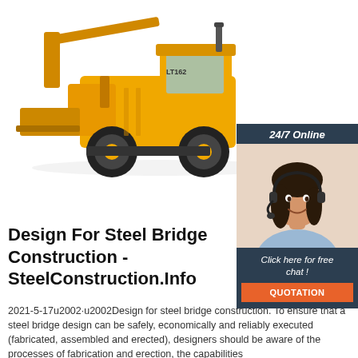[Figure (photo): Yellow construction front loader / bulldozer (LT162 model) on white background, large heavy machinery with black tires]
[Figure (photo): Customer service chat widget showing a woman with a headset smiling, with '24/7 Online' header, 'Click here for free chat!' text, and an orange QUOTATION button, dark navy background]
Design For Steel Bridge Construction - SteelConstruction.Info
2021-5-17u2002·u2002Design for steel bridge construction. To ensure that a steel bridge design can be safely, economically and reliably executed (fabricated, assembled and erected), designers should be aware of the processes of fabrication and erection, the capabilities